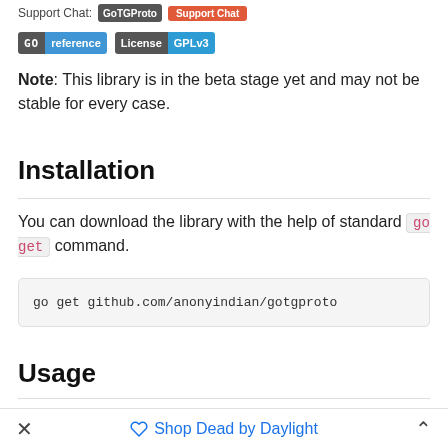[Figure (other): Support Chat badges: GoTGProto button and Support Chat button]
[Figure (other): GO reference badge (gray/blue) and License GPLv3 badge (gray/blue)]
Note: This library is in the beta stage yet and may not be stable for every case.
Installation
You can download the library with the help of standard go get command.
go get github.com/anonyindian/gotgproto
Usage
You can find various examples in the examples'
× Shop Dead by Daylight ^